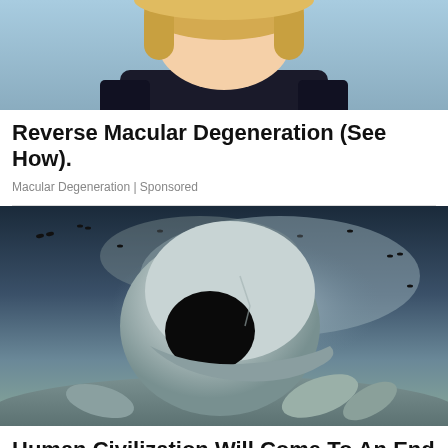[Figure (photo): Cropped photo of a blonde woman from the shoulders up, wearing a dark top, with blurred background]
Reverse Macular Degeneration (See How).
Macular Degeneration | Sponsored
[Figure (photo): A large human skull lying on rocky ground under a dark dramatic stormy sky with birds flying, eerie post-apocalyptic scene]
Human Civilization Will Come To An End Within 30 Years, New Research Warns